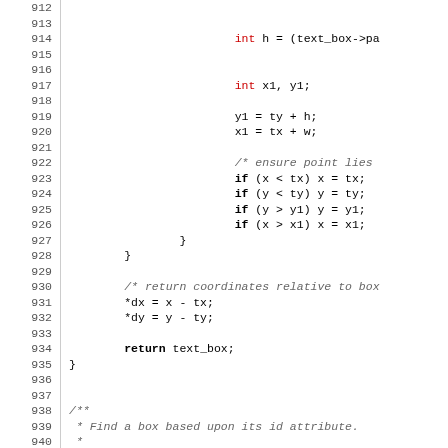Source code listing lines 912-941
[Figure (screenshot): Code listing showing lines 912-941 of a C source file with syntax highlighting. Contains function body with variable declarations, coordinate clamping logic with if statements, and a return statement, followed by a Doxygen comment block.]